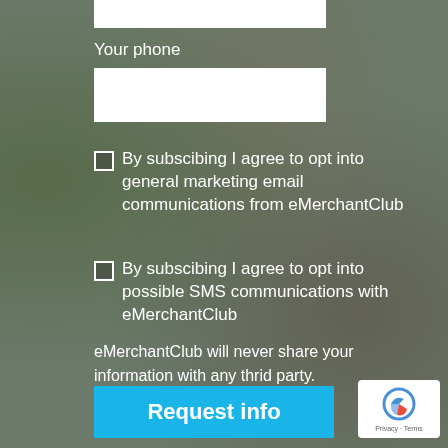[Figure (screenshot): White input field for phone number at top of page]
Your phone
[Figure (screenshot): White input field (phone number entry box)]
By subscibing I agree to opt into general marketing email communications from eMerchantClub
By subscibing I agree to opt into possible SMS communications with eMerchantClub
eMerchantClub will never share your information with any thrid party. Privacy Policy
[Figure (other): Request info button (blue/cyan background, white bold text)]
[Figure (other): reCAPTCHA badge with logo and Privacy - Terms links]